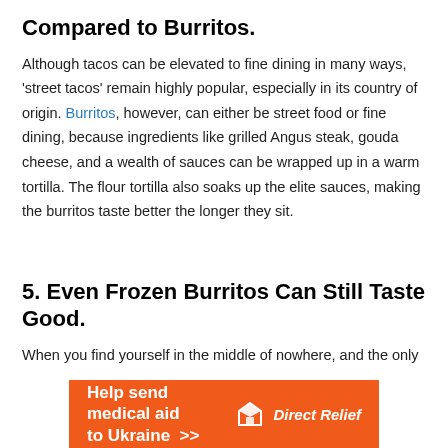Compared to Burritos.
Although tacos can be elevated to fine dining in many ways, 'street tacos' remain highly popular, especially in its country of origin. Burritos, however, can either be street food or fine dining, because ingredients like grilled Angus steak, gouda cheese, and a wealth of sauces can be wrapped up in a warm tortilla. The flour tortilla also soaks up the elite sauces, making the burritos taste better the longer they sit.
5. Even Frozen Burritos Can Still Taste Good.
When you find yourself in the middle of nowhere, and the only
[Figure (infographic): Orange advertisement banner reading 'Help send medical aid to Ukraine >>' with Direct Relief logo on the right.]